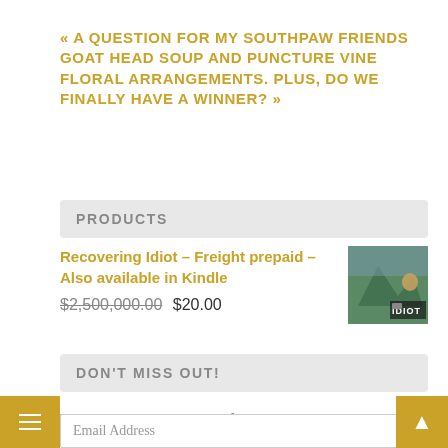« A QUESTION FOR MY SOUTHPAW FRIENDS
GOAT HEAD SOUP AND PUNCTURE VINE FLORAL ARRANGEMENTS. PLUS, DO WE FINALLY HAVE A WINNER? »
PRODUCTS
Recovering Idiot – Freight prepaid – Also available in Kindle
$2,500,000.00 $20.00
DON'T MISS OUT!
Enter your email address to follow this blog and receive notifications of new posts by email.
Email Address